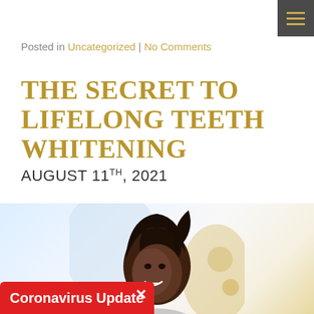☰
Posted in Uncategorized | No Comments
THE SECRET TO LIFELONG TEETH WHITENING
AUGUST 11TH, 2021
[Figure (photo): A smiling woman with dark hair against a blurred light blue and golden background]
Coronavirus Update